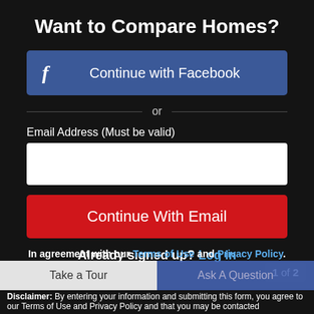Want to Compare Homes?
Continue with Facebook
or
Email Address (Must be valid)
Continue With Email
Already signed up? Log in
1 of 2
In agreement with our Terms of Use and Privacy Policy.
Take a Tour
Ask A Question
Disclaimer: By entering your information and submitting this form, you agree to our Terms of Use and Privacy Policy and that you may be contacted